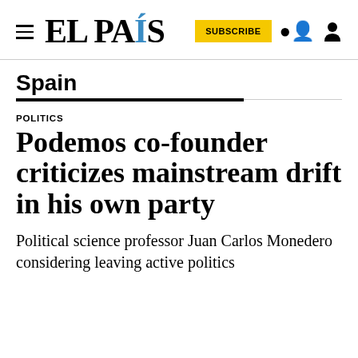EL PAÍS
Spain
POLITICS
Podemos co-founder criticizes mainstream drift in his own party
Political science professor Juan Carlos Monedero considering leaving active politics